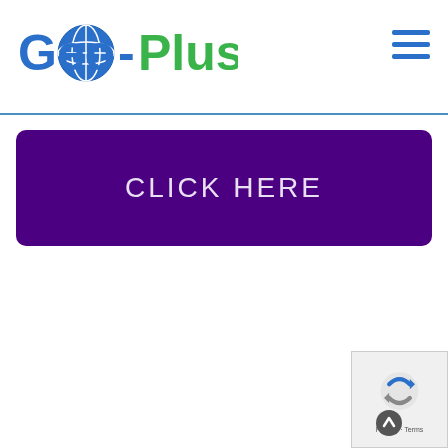Geo-Plus
[Figure (logo): Geo-Plus company logo with globe icon, 'Geo' in blue and 'Plus' in green, hamburger menu icon in blue on the right]
CLICK HERE
[Figure (other): reCAPTCHA badge with Privacy and Terms text and up arrow button]